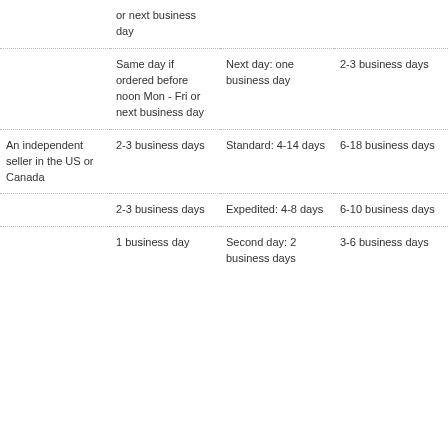|  | or next business day |  |  |
|  | Same day if ordered before noon Mon - Fri or next business day | Next day: one business day | 2-3 business days |
| An independent seller in the US or Canada | 2-3 business days | Standard: 4-14 days | 6-18 business days |
|  | 2-3 business days | Expedited: 4-8 days | 6-10 business days |
|  | 1 business day | Second day: 2 business days | 3-6 business days |